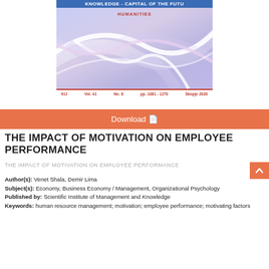[Figure (illustration): Journal cover image for 'Knowledge - Capital of the Future', Humanities issue, showing abstract blue and purple wave design. Footer shows: KIJ Vol. 41 No. 8 pp. 1081-1270 Skopje 2020]
Download
THE IMPACT OF MOTIVATION ON EMPLOYEE PERFORMANCE
THE IMPACT OF MOTIVATION ON EMPLOYEE PERFORMANCE
Author(s): Venet Shala, Demir Lima
Subject(s): Economy, Business Economy / Management, Organizational Psychology
Published by: Scientific Institute of Management and Knowledge
Keywords: human resource management; motivation; employee performance; motivating factors